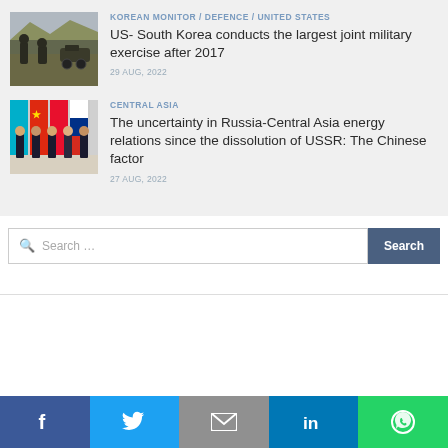[Figure (photo): Military soldiers with equipment in a mountainous area]
KOREAN MONITOR / DEFENCE / UNITED STATES
US- South Korea conducts the largest joint military exercise after 2017
29 AUG, 2022
[Figure (photo): Group of leaders/diplomats standing in front of national flags including China and Russia]
CENTRAL ASIA
The uncertainty in Russia-Central Asia energy relations since the dissolution of USSR: The Chinese factor
27 AUG, 2022